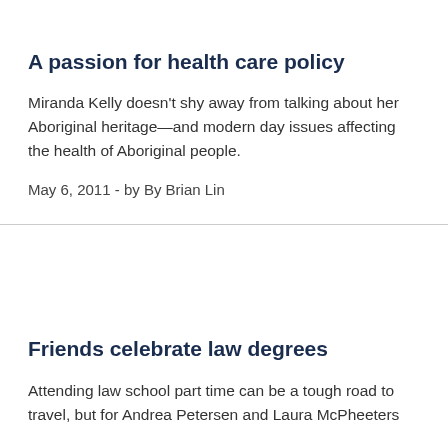A passion for health care policy
Miranda Kelly doesn't shy away from talking about her Aboriginal heritage—and modern day issues affecting the health of Aboriginal people.
May 6, 2011 - by By Brian Lin
Friends celebrate law degrees
Attending law school part time can be a tough road to travel, but for Andrea Petersen and Laura McPheeters